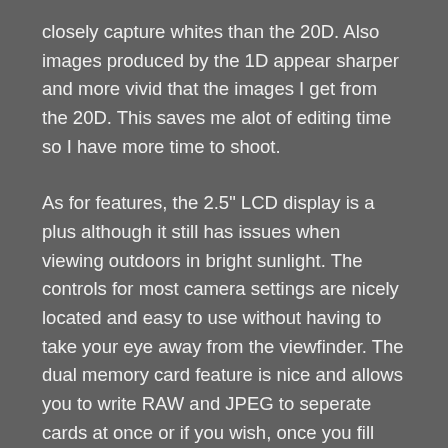closely capture whites than the 20D. Also images produced by the 1D appear sharper and more vivid that the images I get from the 20D. This saves me alot of editing time so I have more time to shoot.
As for features, the 2.5" LCD display is a plus although it still has issues when viewing outdoors in bright sunlight. The controls for most camera settings are nicely located and easy to use without having to take your eye away from the viewfinder. The dual memory card feature is nice and allows you to write RAW and JPEG to seperate cards at once or if you wish, once you fill one card you can switch to the other. There is also a backup feature which will write the images to both cards at once which could come in handy when shooting an event and you want to know that you will not lose an image due to card failure! The battery life will also amaze you! Depending on how often you navigate the